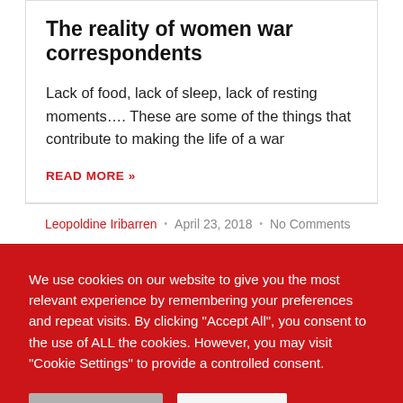The reality of women war correspondents
Lack of food, lack of sleep, lack of resting moments…. These are some of the things that contribute to making the life of a war
READ MORE »
Leopoldine Iribarren · April 23, 2018 · No Comments
We use cookies on our website to give you the most relevant experience by remembering your preferences and repeat visits. By clicking "Accept All", you consent to the use of ALL the cookies. However, you may visit "Cookie Settings" to provide a controlled consent.